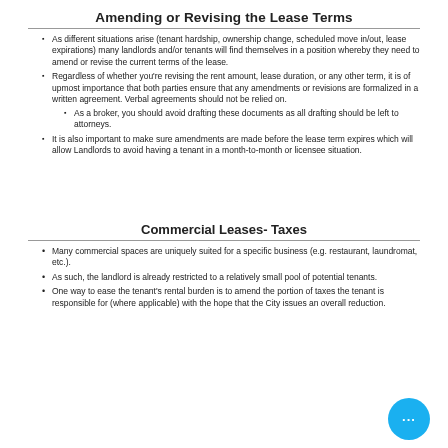Amending or Revising the Lease Terms
As different situations arise (tenant hardship, ownership change, scheduled move in/out, lease expirations) many landlords and/or tenants will find themselves in a position whereby they need to amend or revise the current terms of the lease.
Regardless of whether you’re revising the rent amount, lease duration, or any other term, it is of upmost importance that both parties ensure that any amendments or revisions are formalized in a written agreement. Verbal agreements should not be relied on.
As a broker, you should avoid drafting these documents as all drafting should be left to attorneys.
It is also important to make sure amendments are made before the lease term expires which will allow Landlords to avoid having a tenant in a month-to-month or licensee situation.
Commercial Leases- Taxes
Many commercial spaces are uniquely suited for a specific business (e.g. restaurant, laundromat, etc.).
As such, the landlord is already restricted to a relatively small pool of potential tenants.
One way to ease the tenant’s rental burden is to amend the portion of taxes the tenant is responsible for (where applicable) with the hope that the City issues an overall reduction.